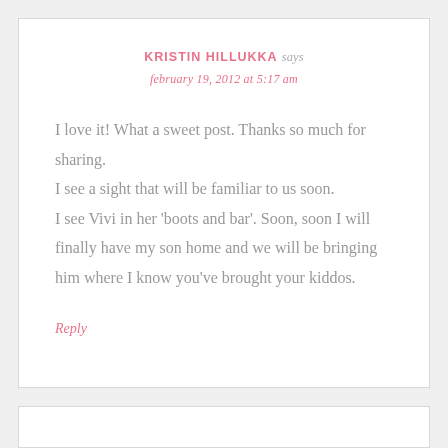KRISTIN HILLUKKA says
february 19, 2012 at 5:17 am
I love it! What a sweet post. Thanks so much for sharing.
I see a sight that will be familiar to us soon.
I see Vivi in her 'boots and bar'. Soon, soon I will finally have my son home and we will be bringing him where I know you've brought your kiddos.
Reply